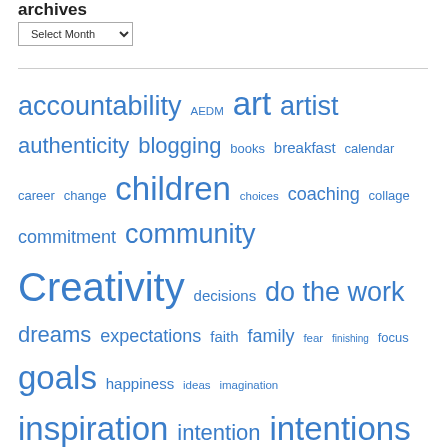archives
Select Month (dropdown)
accountability AEDM art artist authenticity blogging books breakfast calendar career change children choices coaching collage commitment community Creativity decisions do the work dreams expectations faith family fear finishing focus goals happiness ideas imagination inspiration intention intentions just do it kids life making meaning meme Monday Post motherhood motivation muse music NaNoWriMo